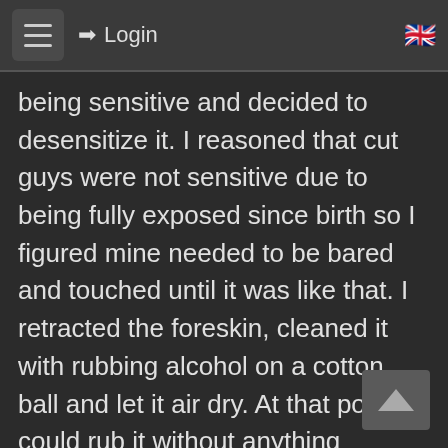☰  ➡ Login  🇬🇧
being sensitive and decided to desensitize it. I reasoned that cut guys were not sensitive due to being fully exposed since birth so I figured mine needed to be bared and touched until it was like that. I retracted the foreskin, cleaned it with rubbing alcohol on a cotton ball and let it air dry. At that point I could rub it without anything sticking to it. At first I lightly caressed it using a piece of very soft flannel. That evolved into being able to rub it harder and then with just my bare fingers. Doing that gave me really hard erections and it screamed MORE—. So